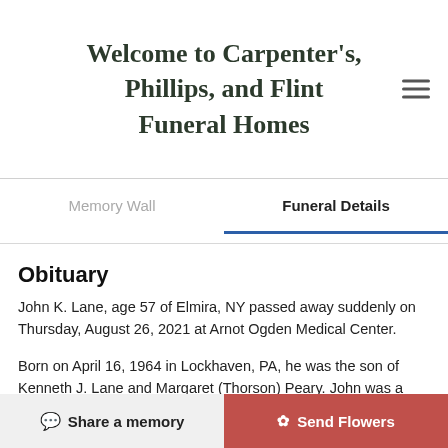Welcome to Carpenter's, Phillips, and Flint Funeral Homes
Memory Wall
Funeral Details
Obituary
John K. Lane, age 57 of Elmira, NY passed away suddenly on Thursday, August 26, 2021 at Arnot Ogden Medical Center.
Born on April 16, 1964 in Lockhaven, PA, he was the son of Kenneth J. Lane and Margaret (Thorson) Peary. John was a graduate of Corning East High School and later attended Corning Community College. He worked as a
Share a memory
Send Flowers